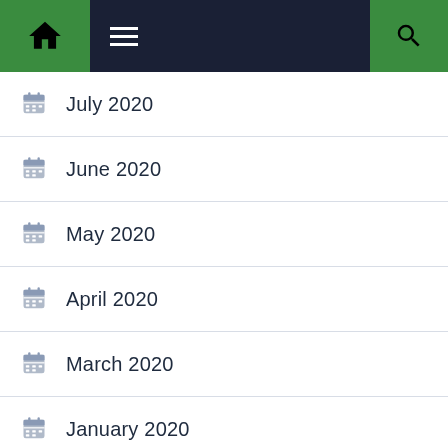Navigation bar with home, menu, and search icons
July 2020
June 2020
May 2020
April 2020
March 2020
January 2020
December 2019
November 2019
October 2019